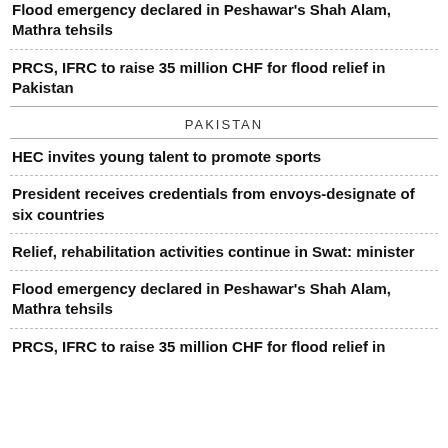Flood emergency declared in Peshawar's Shah Alam, Mathra tehsils
PRCS, IFRC to raise 35 million CHF for flood relief in Pakistan
PAKISTAN
HEC invites young talent to promote sports
President receives credentials from envoys-designate of six countries
Relief, rehabilitation activities continue in Swat: minister
Flood emergency declared in Peshawar's Shah Alam, Mathra tehsils
PRCS, IFRC to raise 35 million CHF for flood relief in